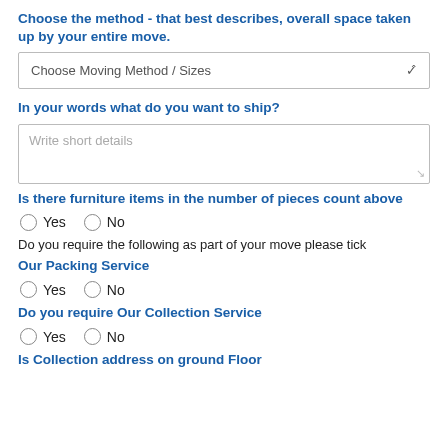Choose the method - that best describes, overall space taken up by your entire move.
Choose Moving Method / Sizes
In your words what do you want to ship?
Write short details
Is there furniture items in the number of pieces count above
Yes   No
Do you require the following as part of your move please tick
Our Packing Service
Yes   No
Do you require Our Collection Service
Yes   No
Is Collection address on ground Floor